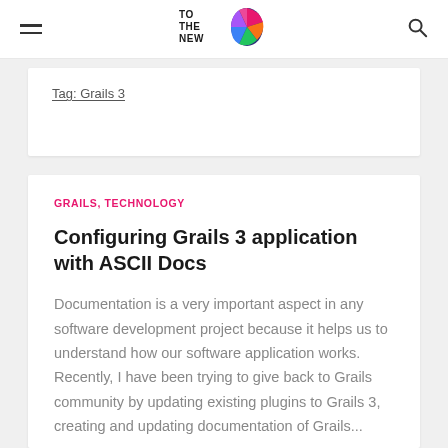[Figure (logo): TO THE NEW logo with colorful egg/shield icon]
Tag: Grails 3
GRAILS, TECHNOLOGY
Configuring Grails 3 application with ASCII Docs
Documentation is a very important aspect in any software development project because it helps us to understand how our software application works. Recently, I have been trying to give back to Grails community by updating existing plugins to Grails 3, creating and updating documentation of Grails...
by Puneet Behl   26 Oct 2016